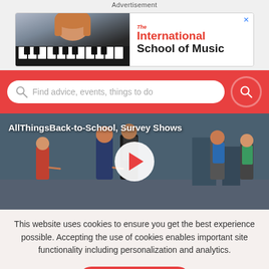Advertisement
[Figure (illustration): Ad banner for The International School of Music showing a girl playing piano keyboard and bold red text logo]
[Figure (screenshot): Search bar with placeholder text 'Find advice, events, things to do' on a red background with a search button]
[Figure (photo): Video thumbnail showing children with backpacks walking, with title 'AllThingsBack-to-School, Survey Shows' and a play button overlay]
This website uses cookies to ensure you get the best experience possible. Accepting the use of cookies enables important site functionality including personalization and analytics.
Accept
Decline